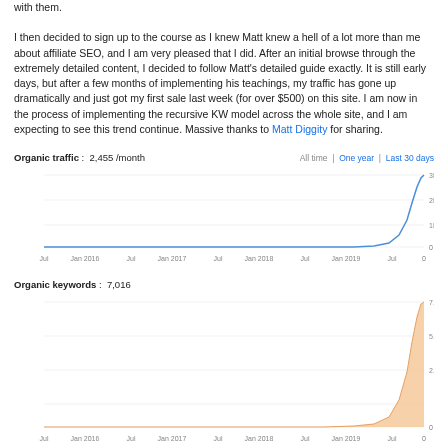with them.

I then decided to sign up to the course as I knew Matt knew a hell of a lot more than me about affiliate SEO, and I am very pleased that I did. After an initial browse through the extremely detailed content, I decided to follow Matt's detailed guide exactly. It is still early days, but after a few months of implementing his teachings, my traffic has gone up dramatically and just got my first sale last week (for over $500) on this site. I am now in the process of implementing the recursive KW model across the whole site, and I am expecting to see this trend continue. Massive thanks to Matt Diggity for sharing.
[Figure (line-chart): Organic traffic: 2,455 /month]
[Figure (area-chart): Organic keywords: 7,016]